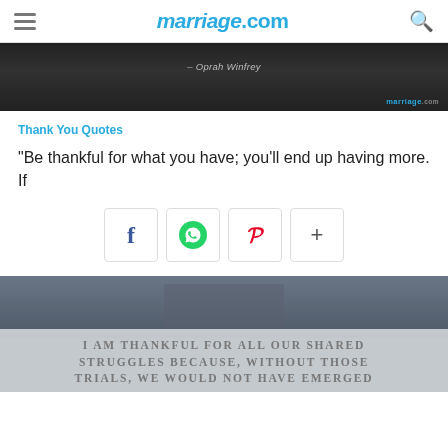marriage.com
[Figure (photo): Dark water reflection background with attribution text '– Oprah Winfrey' and marriage.com watermark]
Thank You Quotes
“Be thankful for what you have; you’ll end up having more. If
[Figure (infographic): Social share buttons: Facebook, WhatsApp, Pinterest, and more (+)]
[Figure (photo): Two people holding hands outdoors with overlay text: I AM THANKFUL FOR ALL OUR SHARED STRUGGLES BECAUSE, WITHOUT THOSE TRIALS, WE WOULD NOT HAVE EMERGED]